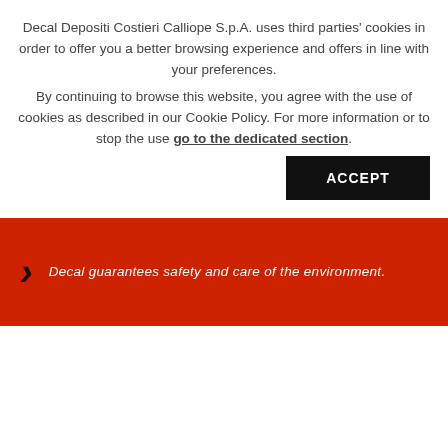Decal Depositi Costieri Calliope S.p.A. uses third parties' cookies in order to offer you a better browsing experience and offers in line with your preferences. By continuing to browse this website, you agree with the use of cookies as described in our Cookie Policy. For more information or to stop the use go to the dedicated section. ACCEPT
Decal guarantees safety and care of the environment.